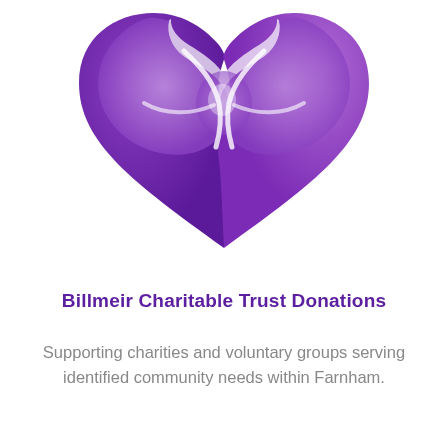[Figure (logo): Purple heart-shaped logo with interlocking twisted ribbon design, forming a stylized heart with a pinwheel/knot at the center in varying shades of purple]
Billmeir Charitable Trust Donations
Supporting charities and voluntary groups serving identified community needs within Farnham.